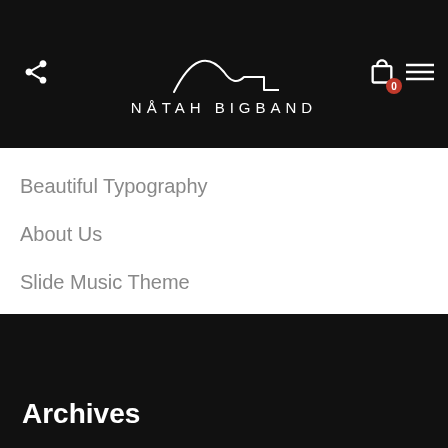NÅTAH BIGBAND
Beautiful Typography
About Us
Slide Music Theme
Archives